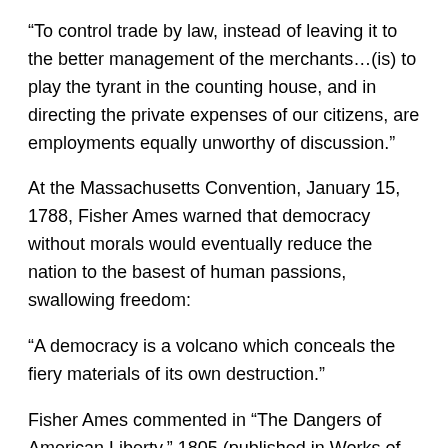“To control trade by law, instead of leaving it to the better management of the merchants…(is) to play the tyrant in the counting house, and in directing the private expenses of our citizens, are employments equally unworthy of discussion.”
At the Massachusetts Convention, January 15, 1788, Fisher Ames warned that democracy without morals would eventually reduce the nation to the basest of human passions, swallowing freedom:
“A democracy is a volcano which conceals the fiery materials of its own destruction.”
Fisher Ames commented in “The Dangers of American Liberty,” 1805 (published in Works of Fisher Ames: with a selection from his speeches and correspondence, Boston: Little, Brown & Co., 1854, pp. 349):